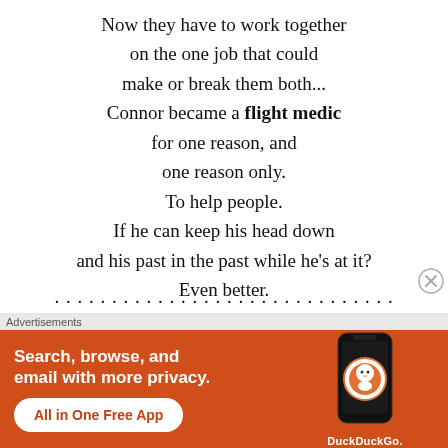Now they have to work together on the one job that could make or break them both...
Connor became a flight medic for one reason, and one reason only. To help people. If he can keep his head down and his past in the past while he's at it? Even better.
[Figure (other): DuckDuckGo advertisement banner with orange background showing 'Search, browse, and email with more privacy. All in One Free App' with DuckDuckGo logo and phone illustration]
Advertisements